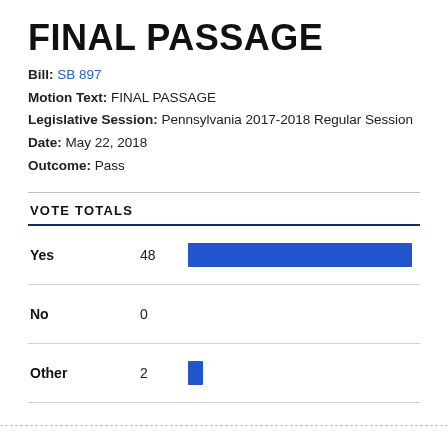FINAL PASSAGE
Bill: SB 897
Motion Text: FINAL PASSAGE
Legislative Session: Pennsylvania 2017-2018 Regular Session
Date: May 22, 2018
Outcome: Pass
VOTE TOTALS
[Figure (bar-chart): Vote Totals]